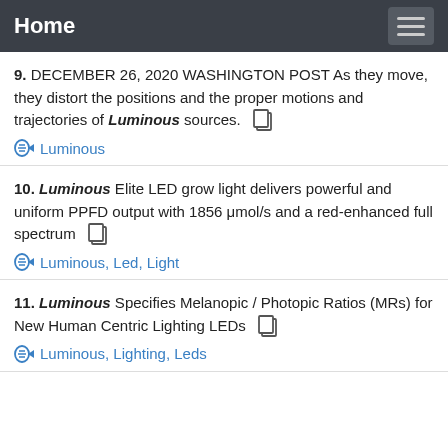Home
9. DECEMBER 26, 2020 WASHINGTON POST As they move, they distort the positions and the proper motions and trajectories of Luminous sources.
Luminous
10. Luminous Elite LED grow light delivers powerful and uniform PPFD output with 1856 μmol/s and a red-enhanced full spectrum
Luminous, Led, Light
11. Luminous Specifies Melanopic / Photopic Ratios (MRs) for New Human Centric Lighting LEDs
Luminous, Lighting, Leds